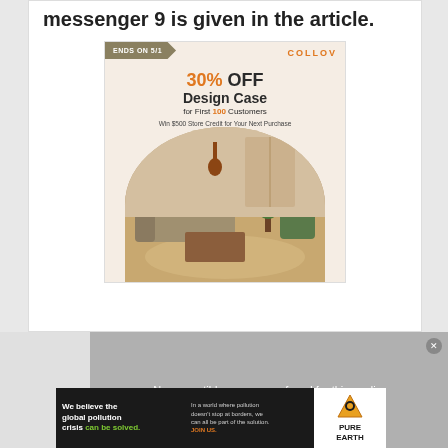messenger 9 is given in the article.
[Figure (illustration): COLLOV advertisement: '30% OFF Design Case for First 100 Customers. Win $500 Store Credit for Your Next Purchase.' Features a living room interior scene inside a semicircle.]
[Figure (screenshot): Video player area showing 'No compatible source was found for this media.' with a partially visible Minecraft-related background.]
[Figure (illustration): Pure Earth advertisement: 'We believe the global pollution crisis can be solved. In a world where pollution doesn't stop at borders, we can all be part of the solution. JOIN US.' with Pure Earth logo.]